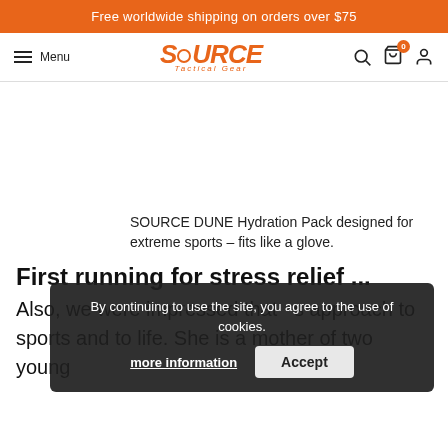Free worldwide shipping on orders over $75
[Figure (logo): SOURCE Tactical Gear logo with hamburger menu, search, cart (0), and user icons]
SOURCE DUNE Hydration Pack designed for extreme sports – fits like a glove.
First running for stress relief ...
Also, we were impressed that...s approach to sports and to life. She is a mother of two young
By continuing to use the site, you agree to the use of cookies.
more information | Accept